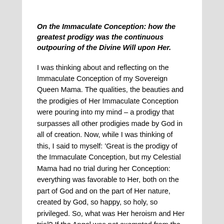On the Immaculate Conception: how the greatest prodigy was the continuous outpouring of the Divine Will upon Her.
I was thinking about and reflecting on the Immaculate Conception of my Sovereign Queen Mama. The qualities, the beauties and the prodigies of Her Immaculate Conception were pouring into my mind – a prodigy that surpasses all other prodigies made by God in all of creation. Now, while I was thinking of this, I said to myself: 'Great is the prodigy of the Immaculate Conception, but my Celestial Mama had no trial during her Conception: everything was favorable to Her, both on the part of God and on the part of Her nature, created by God, so happy, so holy, so privileged. So, what was Her heroism and Her trial? If the Angel was not exempted from the test – nor was Adam in Eden – was the queen of all alone to be exempted and not to deserve the most beautiful halo that the trial would place on Her august head of Queen and Mother of the Son of God?'